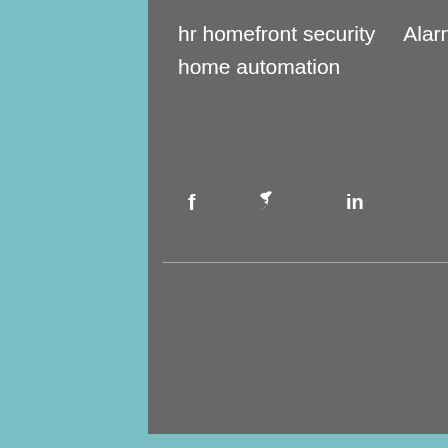hr homefront security   Alarm.Com
home automation
[Figure (infographic): Social share icons: Facebook (f), Twitter bird, LinkedIn (in)]
[Figure (infographic): Heart/like icon in red outline]
Featured Posts
Recent Posts
Search By Tags
2 GIG   alarm sy   Alarm.Com   bulbz
chesapeake security   family   go control panel
home automation   hr homefront security
kwikset   norfolk security   safety